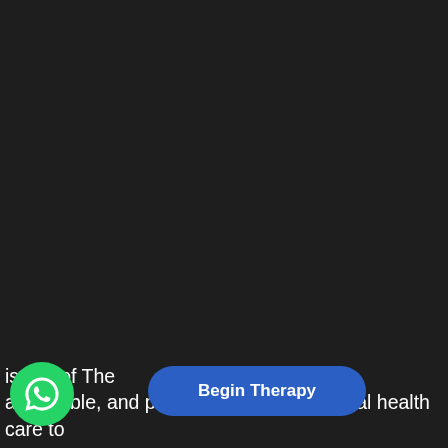[Figure (screenshot): Dark background covering most of the page, part of a website screenshot with a WhatsApp floating button, a 'Begin Therapy' button, and partial text about a mission to provide inexpensive, accessible, and professional online mental health care.]
ission of The  vide inexpensive, accessible, and professional online mental health care to